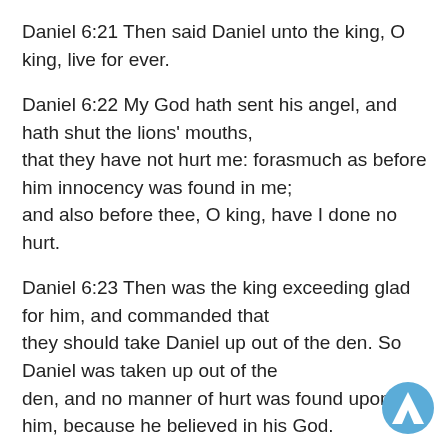Daniel 6:21 Then said Daniel unto the king, O king, live for ever.
Daniel 6:22 My God hath sent his angel, and hath shut the lions' mouths,
that they have not hurt me: forasmuch as before him innocency was found in me;
and also before thee, O king, have I done no hurt.
Daniel 6:23 Then was the king exceeding glad for him, and commanded that
they should take Daniel up out of the den. So Daniel was taken up out of the
den, and no manner of hurt was found upon him, because he believed in his God.
Daniel 6:24 And the king commanded, and they brought those men which had
accused Daniel, and they cast them into the den of
[Figure (logo): Logos Bible Software logo - blue circle with white lambda/chevron symbol]